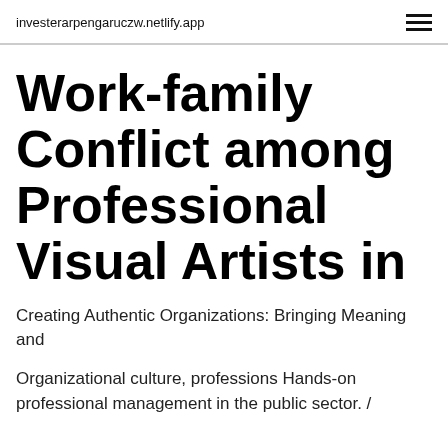investerarpengaruczw.netlify.app
Work-family Conflict among Professional Visual Artists in
Creating Authentic Organizations: Bringing Meaning and
Organizational culture, professions Hands-on professional management in the public sector. /